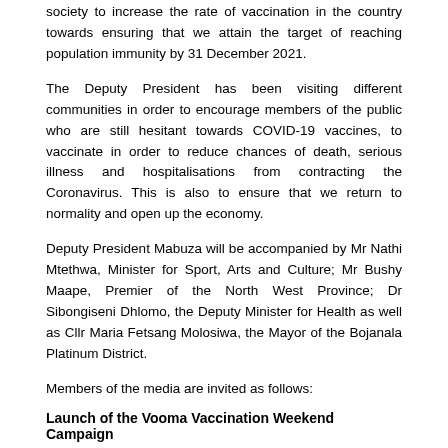society to increase the rate of vaccination in the country towards ensuring that we attain the target of reaching population immunity by 31 December 2021.
The Deputy President has been visiting different communities in order to encourage members of the public who are still hesitant towards COVID-19 vaccines, to vaccinate in order to reduce chances of death, serious illness and hospitalisations from contracting the Coronavirus. This is also to ensure that we return to normality and open up the economy.
Deputy President Mabuza will be accompanied by Mr Nathi Mtethwa, Minister for Sport, Arts and Culture; Mr Bushy Maape, Premier of the North West Province; Dr Sibongiseni Dhlomo, the Deputy Minister for Health as well as Cllr Maria Fetsang Molosiwa, the Mayor of the Bojanala Platinum District.
Members of the media are invited as follows:
Launch of the Vooma Vaccination Weekend Campaign
Date: Friday, 1 October 2021
Time: 08:00 – 09:00